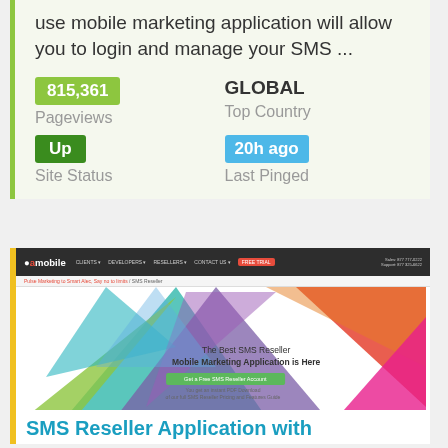use mobile marketing application will allow you to login and manage your SMS ...
815,361
Pageviews
GLOBAL
Top Country
Up
Site Status
20h ago
Last Pinged
[Figure (screenshot): Screenshot of a mobile marketing website showing colorful geometric triangles and text: The Best SMS Reseller Mobile Marketing Application is Here]
SMS Reseller Application with